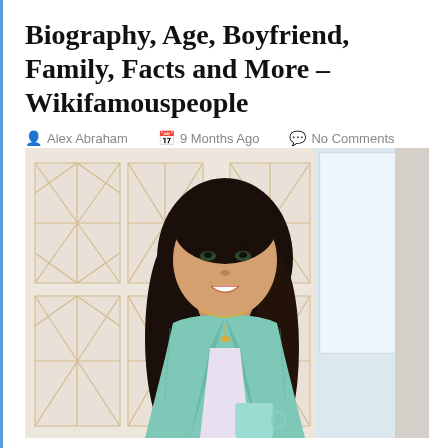Biography, Age, Boyfriend, Family, Facts and More – Wikifamouspeople
Alex Abraham   9 Months Ago   No Comments
[Figure (photo): A young woman with long dark hair, smiling, wearing a light mint/teal blazer over a floral top with a silver necklace, holding a light blue mug. Background shows decorative wall panels with gold diamond lattice pattern and a window.]